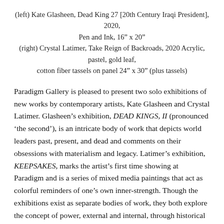(left) Kate Glasheen, Dead King 27 [20th Century Iraqi President], 2020, Pen and Ink, 16″ x 20″ (right) Crystal Latimer, Take Reign of Backroads, 2020 Acrylic, pastel, gold leaf, cotton fiber tassels on panel 24″ x 30″ (plus tassels)
Paradigm Gallery is pleased to present two solo exhibitions of new works by contemporary artists, Kate Glasheen and Crystal Latimer. Glasheen's exhibition, DEAD KINGS, II (pronounced 'the second'), is an intricate body of work that depicts world leaders past, present, and dead and comments on their obsessions with materialism and legacy. Latimer's exhibition, KEEPSAKES, marks the artist's first time showing at Paradigm and is a series of mixed media paintings that act as colorful reminders of one's own inner-strength. Though the exhibitions exist as separate bodies of work, they both explore the concept of power, external and internal, through historical references and imagery. DEAD